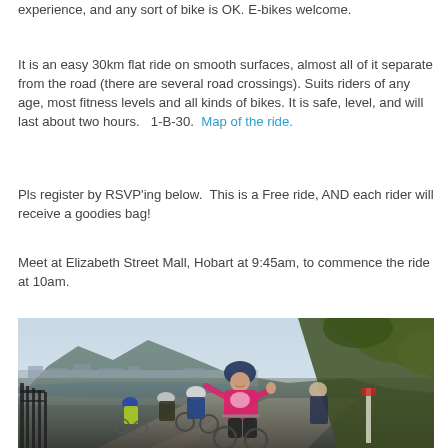experience, and any sort of bike is OK.  E-bikes welcome.
It is an easy 30km flat ride on smooth surfaces, almost all of it separate from the road (there are several road crossings).  Suits riders of any age, most fitness levels and all kinds of bikes.  It is safe, level, and will last about two hours.   1-B-30.  Map of the ride.
Pls register by RSVP'ing below.  This is a Free ride, AND each rider will receive a goodies bag!
Meet at Elizabeth Street Mall, Hobart at 9:45am, to commence the ride at 10am.
[Figure (photo): Group of cyclists riding along a path with mountain and city of Hobart visible in the background. Lead rider is a smiling woman in a pink jersey giving thumbs up, wearing a dark helmet. Other cyclists behind her in various coloured jerseys. Vegetation and trees on the right side. Black fence railing on the left.]